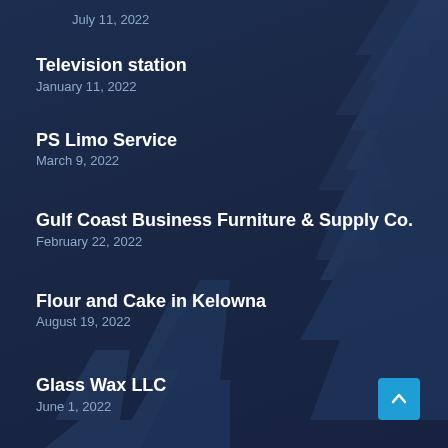July 11, 2022
Television station
January 11, 2022
PS Limo Service
March 9, 2022
Gulf Coast Business Furniture & Supply Co.
February 22, 2022
Flour and Cake in Kelowna
August 19, 2022
Glass Wax LLC
June 1, 2022